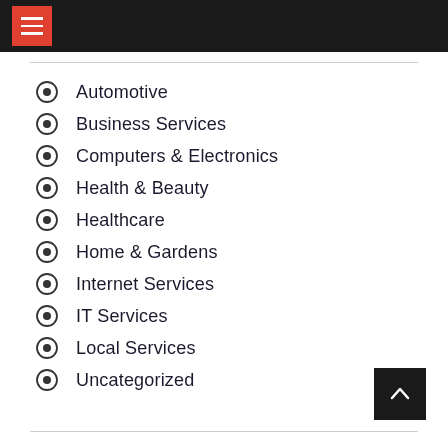Automotive
Business Services
Computers & Electronics
Health & Beauty
Healthcare
Home & Gardens
Internet Services
IT Services
Local Services
Uncategorized